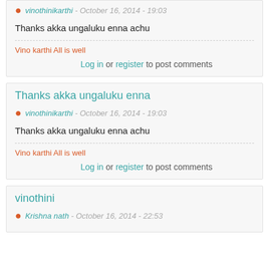vinothinikarthi - October 16, 2014 - 19:03
Thanks akka ungaluku enna achu
Vino karthi All is well
Log in or register to post comments
Thanks akka ungaluku enna
vinothinikarthi - October 16, 2014 - 19:03
Thanks akka ungaluku enna achu
Vino karthi All is well
Log in or register to post comments
vinothini
Krishna nath - October 16, 2014 - 22:53